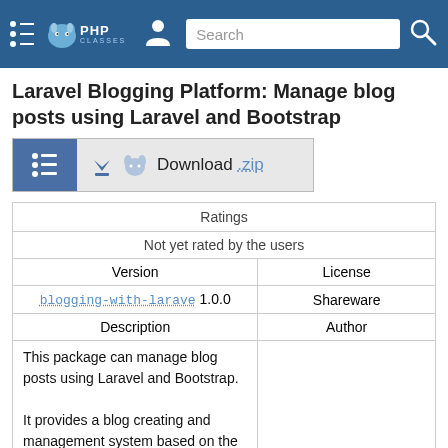PHPClasses [Search bar] [User icon]
Laravel Blogging Platform: Manage blog posts using Laravel and Bootstrap
[Figure (screenshot): Download .zip button with blue list-icon tab and elephant mascot icon]
| Ratings |
| --- |
| Not yet rated by the users |
| Version | License |
| --- | --- |
| blogging-with-larave 1.0.0 | Shareware |
| Description | Author |
| --- | --- |
| This package can manage blog posts using Laravel and Bootstrap.

It provides a blog creating and management system based on the Laravel framework and uses Bootstrap library to render the blog pages. |  |